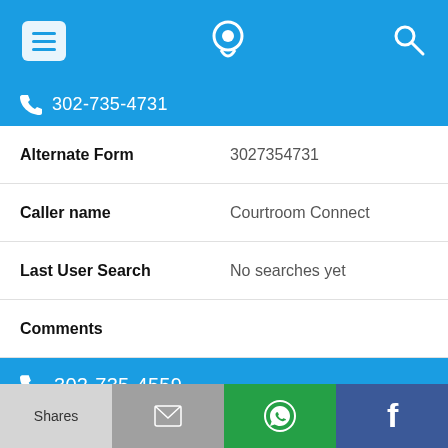Navigation bar with menu, phone locator, and search icons
302-735-4731
Alternate Form  3027354731
Caller name  Courtroom Connect
Last User Search  No searches yet
Comments
302-735-4559
Alternate Form  3027354559
Shares | Email | WhatsApp | Facebook